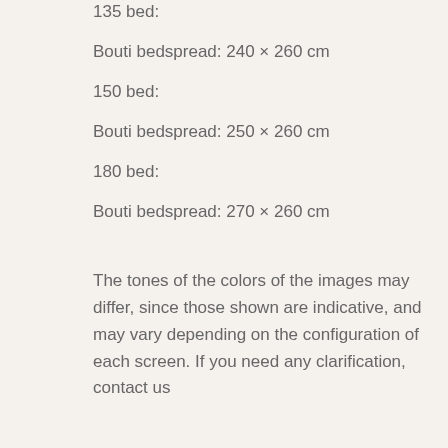135 bed:
Bouti bedspread: 240 × 260 cm
150 bed:
Bouti bedspread: 250 × 260 cm
180 bed:
Bouti bedspread: 270 × 260 cm
The tones of the colors of the images may differ, since those shown are indicative, and may vary depending on the configuration of each screen. If you need any clarification, contact us